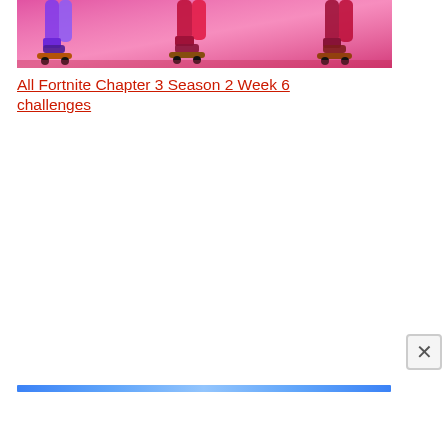[Figure (photo): Cropped image showing legs and feet of characters on skateboards against a pink background, appearing to be from a Fortnite game promotional image.]
All Fortnite Chapter 3 Season 2 Week 6 challenges